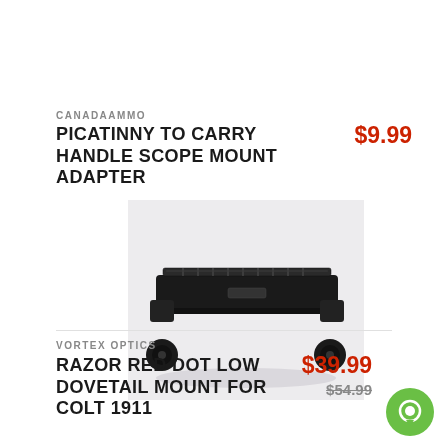CANADAAMMO
PICATINNY TO CARRY HANDLE SCOPE MOUNT ADAPTER
$9.99
[Figure (photo): Black metal Picatinny to carry handle scope mount adapter rail, photographed on a light grey surface]
VORTEX OPTICS
RAZOR RED DOT LOW DOVETAIL MOUNT FOR COLT 1911
$39.99
$54.99